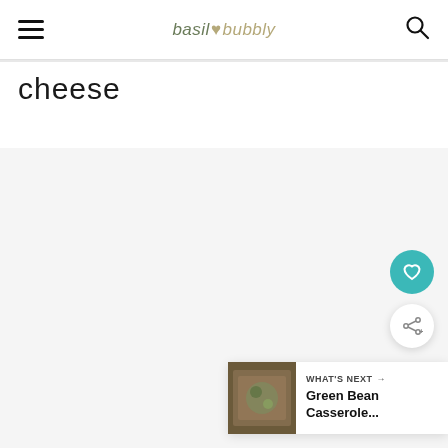basil & bubbly
cheese
[Figure (screenshot): Light gray content area placeholder, no image loaded]
WHAT'S NEXT → Green Bean Casserole...